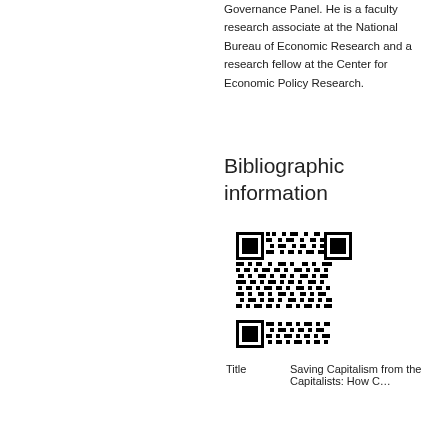Governance Panel. He is a faculty research associate at the National Bureau of Economic Research and a research fellow at the Center for Economic Policy Research.
Bibliographic information
[Figure (other): QR code for bibliographic information]
| Title | Saving Capitalism from the Capitalists: How C… |